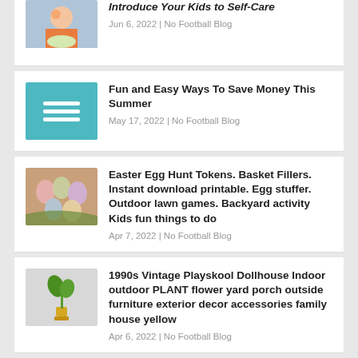Introduce Your Kids to Self-Care
Jun 6, 2022 | No Football Blog
Fun and Easy Ways To Save Money This Summer
May 17, 2022 | No Football Blog
Easter Egg Hunt Tokens. Basket Fillers. Instant download printable. Egg stuffer. Outdoor lawn games. Backyard activity Kids fun things to do
Apr 7, 2022 | No Football Blog
1990s Vintage Playskool Dollhouse Indoor outdoor PLANT flower yard porch outside furniture exterior decor accessories family house yellow
Apr 6, 2022 | No Football Blog
Backyard Games For Adults, Outdoor Games For Family, Wedding Games